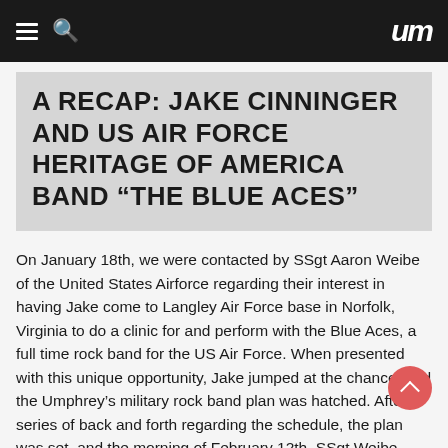um
A RECAP: JAKE CINNINGER AND US AIR FORCE HERITAGE OF AMERICA BAND “THE BLUE ACES”
On January 18th, we were contacted by SSgt Aaron Weibe of the United States Airforce regarding their interest in having Jake come to Langley Air Force base in Norfolk, Virginia to do a clinic for and perform with the Blue Aces, a full time rock band for the US Air Force. When presented with this unique opportunity, Jake jumped at the chance, and the Umphrey’s military rock band plan was hatched. After a series of back and forth regarding the schedule, the plan was set, and the morning of February 12th, SSgt Weibe picked up Jake in the morning for his day at Langley. A truly unique afternoon for any American musician.
Below is the schedule provided by SSgt Weibe, along with some photos and video from the outing.